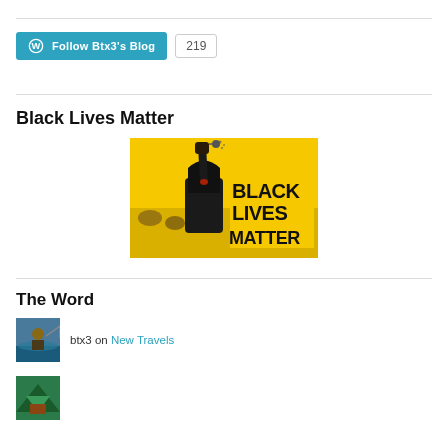[Figure (other): WordPress Follow Btx3's Blog button with count 219]
Black Lives Matter
[Figure (illustration): Black Lives Matter illustration showing person in black hoodie with raised fist against yellow background with crowd, text reads BLACK LIVES MATTER]
The Word
btx3 on New Travels
[Figure (photo): Small avatar thumbnail of person fishing]